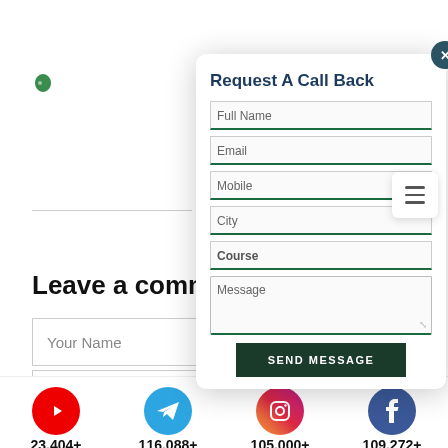[Figure (illustration): Green leaf/tag icon in top-left area of page background]
Leave a comme...
[Figure (screenshot): Request A Call Back modal form with fields: Full Name, Email, Mobile, City, Course, Message and SEND MESSAGE button]
[Figure (infographic): Social media stats bar: YouTube 23,404+ Subscribers, Telegram 116,088+ Subscribers, Instagram 105,000+ followers, Facebook 109,272+ followers]